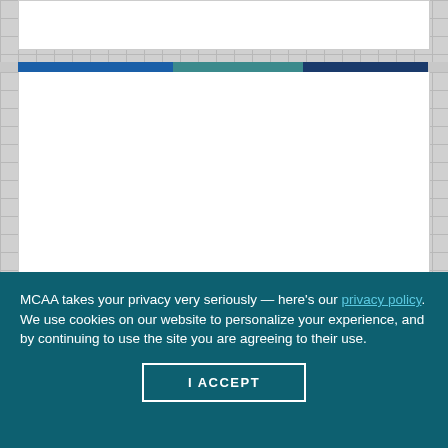[Figure (screenshot): Top section of a website with a white content box on a gray dotted/grid background, partially cropped]
[Figure (infographic): Horizontal color bar divided into three segments: blue (left), teal (center), dark blue (right)]
[Figure (screenshot): Main website content area — white box on gray grid background, content not visible]
MCAA takes your privacy very seriously — here's our privacy policy. We use cookies on our website to personalize your experience, and by continuing to use the site you are agreeing to their use.
I ACCEPT